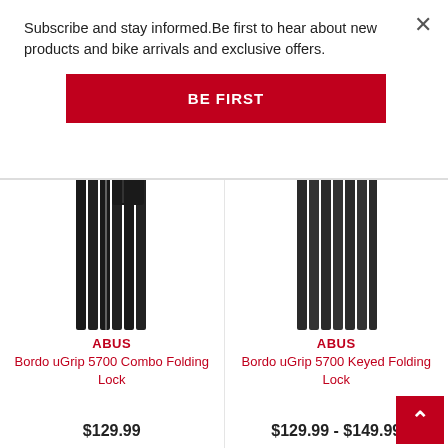Subscribe and stay informed.Be first to hear about new products and bike arrivals and exclusive offers.
BE FIRST
[Figure (photo): ABUS Bordo uGrip 5700 Combo Folding Lock - black folding lock shown vertically]
ABUS
Bordo uGrip 5700 Combo Folding Lock
$129.99
[Figure (photo): ABUS Bordo uGrip 5700 Keyed Folding Lock - dark gray folding lock shown vertically]
ABUS
Bordo uGrip 5700 Keyed Folding Lock
$129.99 - $149.99